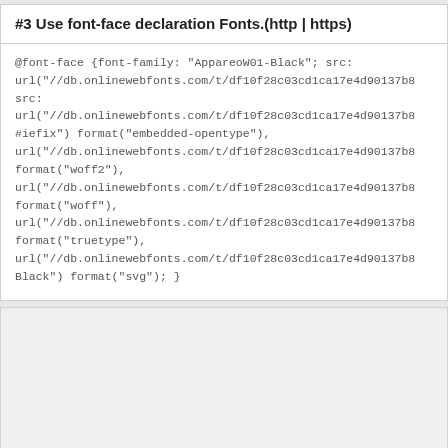#3 Use font-face declaration Fonts.(http | https)
@font-face {font-family: "AppareoW01-Black"; src: url("//db.onlinewebfonts.com/t/df10f28c03cd1ca17e4d90137b8#iefix") format("embedded-opentype"), url("//db.onlinewebfonts.com/t/df10f28c03cd1ca17e4d90137b8 format("woff2"), url("//db.onlinewebfonts.com/t/df10f28c03cd1ca17e4d90137b8 format("woff"), url("//db.onlinewebfonts.com/t/df10f28c03cd1ca17e4d90137b8 format("truetype"), url("//db.onlinewebfonts.com/t/df10f28c03cd1ca17e4d90137b8 Black") format("svg"); }
DOWNLOAD FORMAT